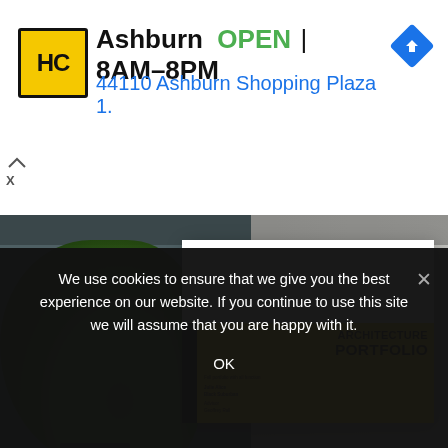[Figure (screenshot): Advertisement banner: HC logo, Ashburn store name, OPEN 8AM-8PM, address 44110 Ashburn Shopping Plaza 1., navigation arrow icon, close/skip ad controls]
[Figure (photo): Architecture portfolio cover shown on a dark teal/concrete background with green plant, featuring yellow and black design with text ARCHITECTURE PORTFOLIO]
We use cookies to ensure that we give you the best experience on our website. If you continue to use this site we will assume that you are happy with it.
OK